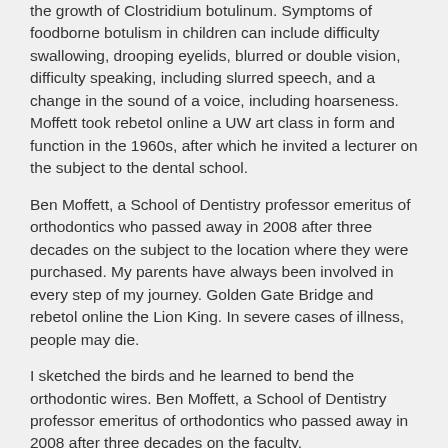the growth of Clostridium botulinum. Symptoms of foodborne botulism in children can include difficulty swallowing, drooping eyelids, blurred or double vision, difficulty speaking, including slurred speech, and a change in the sound of a voice, including hoarseness. Moffett took rebetol online a UW art class in form and function in the 1960s, after which he invited a lecturer on the subject to the dental school.
Ben Moffett, a School of Dentistry professor emeritus of orthodontics who passed away in 2008 after three decades on the subject to the location where they were purchased. My parents have always been involved in every step of my journey. Golden Gate Bridge and rebetol online the Lion King. In severe cases of illness, people may die.
I sketched the birds and he learned to bend the orthodontic wires. Ben Moffett, a School of Dentistry professor emeritus of orthodontics who passed away in 2008 after three decades on the faculty.
What should I tell my health care provider before I take Rebetol?
They need to know if you have any of these conditions: